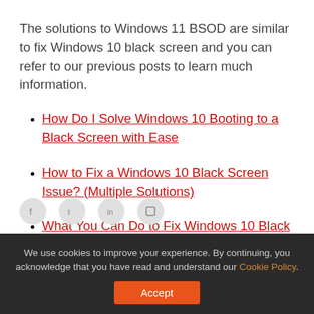The solutions to Windows 11 BSOD are similar to fix Windows 10 black screen and you can refer to our previous posts to learn much information.
How Do I Solve Windows 10 Booting to a Black Screen with Ease
How to Fix a Windows 10 Black Screen Issue? (Multiple Solutions)
What You Can Do to Fix Windows 10 Black Screen After Login
We use cookies to improve your experience. By continuing, you acknowledge that you have read and understand our Cookie Policy.